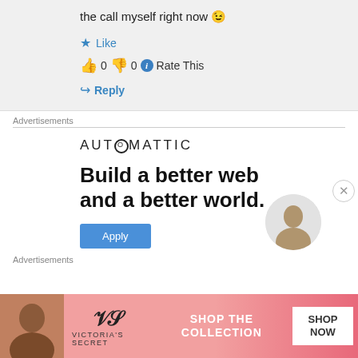the call myself right now 😉
★ Like
👍 0 👎 0 ℹ Rate This
↪ Reply
Advertisements
[Figure (screenshot): Automattic advertisement: 'Build a better web and a better world.' with Apply button and person photo]
Advertisements
[Figure (screenshot): Victoria's Secret banner ad: SHOP THE COLLECTION / SHOP NOW]